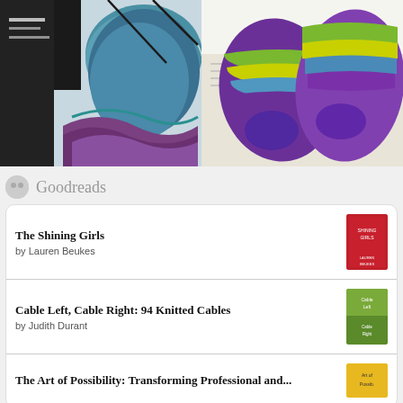[Figure (photo): Left photo: knitting in progress, blue and purple yarn on needles, in-progress sock or mitten shape]
[Figure (photo): Right photo: finished knitted socks in green, yellow, blue and purple striped yarn laid on open book]
Goodreads
The Shining Girls
by Lauren Beukes
Cable Left, Cable Right: 94 Knitted Cables
by Judith Durant
The Art of Possibility: Transforming Professional and...